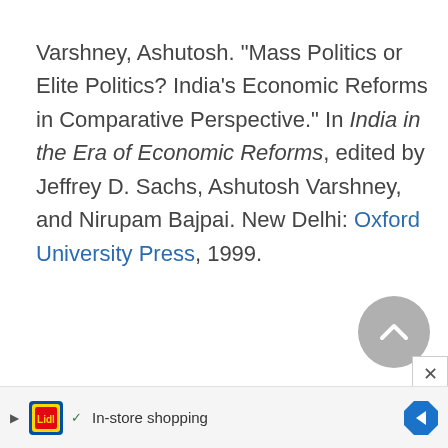Varshney, Ashutosh. "Mass Politics or Elite Politics? India's Economic Reforms in Comparative Perspective." In India in the Era of Economic Reforms, edited by Jeffrey D. Sachs, Ashutosh Varshney, and Nirupam Bajpai. New Delhi: Oxford University Press, 1999.